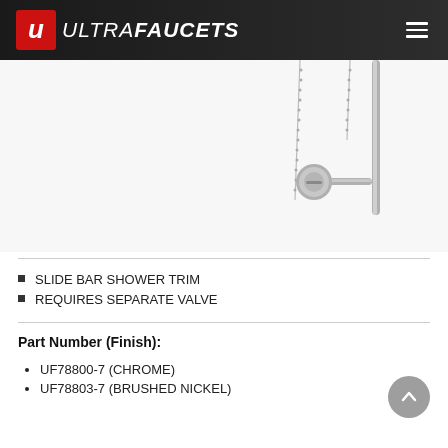ULTRAFAUCETS
[Figure (photo): Product photo of a slide bar shower trim with a vertical chrome bar and adjustable holder/bracket on a light background, with hanging chains visible.]
SLIDE BAR SHOWER TRIM
REQUIRES SEPARATE VALVE
Part Number (Finish):
UF78800-7 (CHROME)
UF78803-7 (BRUSHED NICKEL)